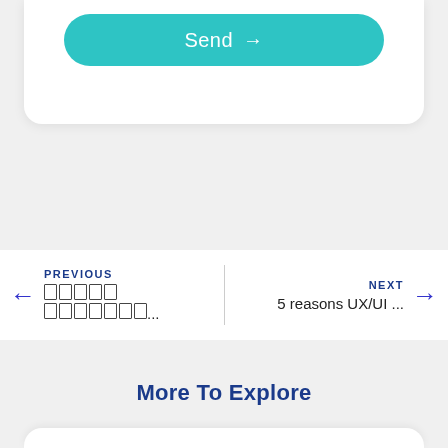[Figure (screenshot): Teal rounded Send button with right arrow on white card]
PREVIOUS
□□□□□ □□□□□□□...
NEXT
5 reasons UX/UI ...
More To Explore